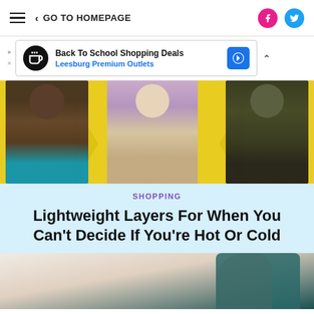GO TO HOMEPAGE
[Figure (photo): Advertisement banner: Back To School Shopping Deals - Leesburg Premium Outlets]
[Figure (photo): Three women modeling layered outfits on a yellow background: one in brown wrap with teal set, one in purple jacket with beige skirt, one in olive jacket with black set]
SHOPPING
Lightweight Layers For When You Can't Decide If You're Hot Or Cold
[Figure (photo): Woman in a teal bodycon outfit leaning forward, cropped at bottom of page]